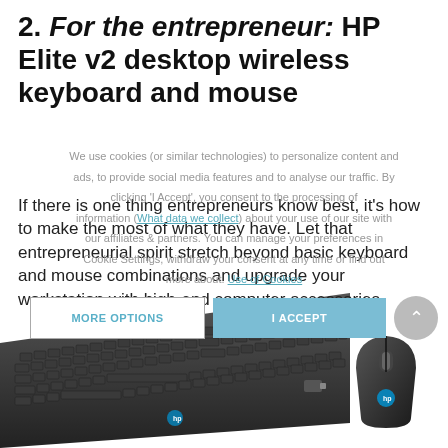2. For the entrepreneur: HP Elite v2 desktop wireless keyboard and mouse
We use cookies (or similar technologies) to personalize content and ads, to provide social media features and to analyse our traffic. By clicking 'I Accept', you consent to the processing of information (What data we collect) about your use of our site with our affiliates & partners. You can manage your preferences in Cookie Settings, withdraw your consent at any time or find out more about. Use of Cookies
If there is one thing entrepreneurs know best, it's how to make the most of what they have. Let that entrepreneurial spirit stretch beyond basic keyboard and mouse combinations and upgrade your workstation with high-end computer accessories.
[Figure (photo): HP Elite v2 wireless keyboard and mouse combo product photo. Black slim wireless keyboard angled with USB dongle and black wireless mouse on white background.]